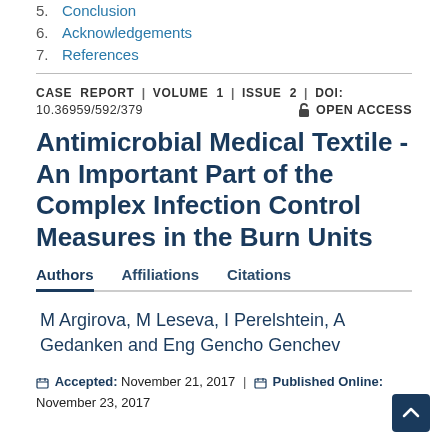5.  Conclusion
6.  Acknowledgements
7.  References
CASE REPORT  |  VOLUME 1  |  ISSUE 2  |  DOI: 10.36959/592/379   🔒 OPEN ACCESS
Antimicrobial Medical Textile - An Important Part of the Complex Infection Control Measures in the Burn Units
Authors   Affiliations   Citations
M Argirova, M Leseva, I Perelshtein, A Gedanken and Eng Gencho Genchev
Accepted: November 21, 2017 | Published Online: November 23, 2017